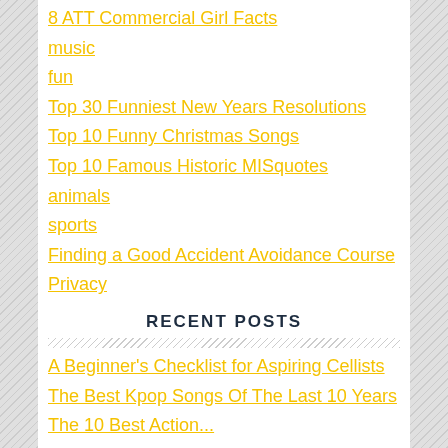8 ATT Commercial Girl Facts
music
fun
Top 30 Funniest New Years Resolutions
Top 10 Funny Christmas Songs
Top 10 Famous Historic MISquotes
animals
sports
Finding a Good Accident Avoidance Course
Privacy
RECENT POSTS
A Beginner's Checklist for Aspiring Cellists
The Best Kpop Songs Of The Last 10 Years
The 10 Best Action...